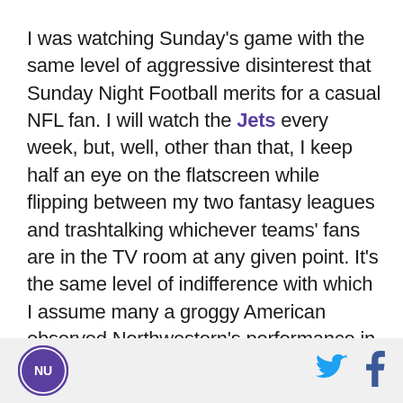I was watching Sunday's game with the same level of aggressive disinterest that Sunday Night Football merits for a casual NFL fan. I will watch the Jets every week, but, well, other than that, I keep half an eye on the flatscreen while flipping between my two fantasy leagues and trashtalking whichever teams' fans are in the TV room at any given point. It's the same level of indifference with which I assume many a groggy American observed Northwestern's performance in the 2010 Outback Bowl - crippled by hangover twelve hours after the clock struck midnight on New Years', hoping for warmth in the dull tones of some announcer
[Figure (logo): Northwestern University NU circular logo in purple and gold]
[Figure (logo): Twitter bird icon in blue]
[Figure (logo): Facebook f icon in dark blue]